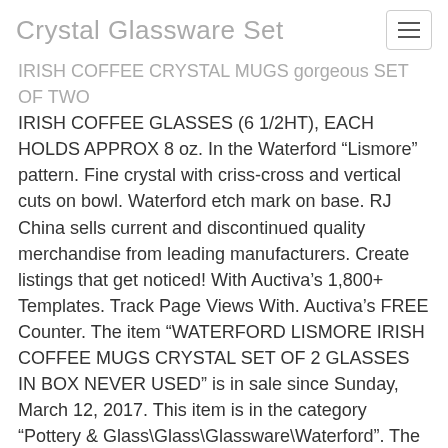Crystal Glassware Set
IRISH COFFEE CRYSTAL MUGS gorgeous SET OF TWO IRISH COFFEE GLASSES (6 1/2HT), EACH HOLDS APPROX 8 oz. In the Waterford “Lismore” pattern. Fine crystal with criss-cross and vertical cuts on bowl. Waterford etch mark on base. RJ China sells current and discontinued quality merchandise from leading manufacturers. Create listings that get noticed! With Auctiva’s 1,800+ Templates. Track Page Views With. Auctiva’s FREE Counter. The item “WATERFORD LISMORE IRISH COFFEE MUGS CRYSTAL SET OF 2 GLASSES IN BOX NEVER USED” is in sale since Sunday, March 12, 2017. This item is in the category “Pottery & Glass\Glass\Glassware\Waterford”. The seller is “rizchina” and is located in Centereach, New York. This item can be shipped worldwide.
Details on eBay